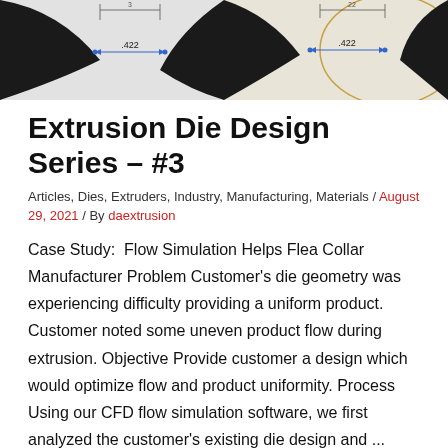[Figure (engineering-diagram): Technical drawing of an extrusion die showing cross-section views with dimension annotations (.422) and blue reference points, with curved profile outlines on a light gray background.]
Extrusion Die Design Series – #3
Articles, Dies, Extruders, Industry, Manufacturing, Materials / August 29, 2021 / By daextrusion
Case Study:  Flow Simulation Helps Flea Collar Manufacturer Problem Customer's die geometry was experiencing difficulty providing a uniform product. Customer noted some uneven product flow during extrusion. Objective Provide customer a design which would optimize flow and product uniformity. Process Using our CFD flow simulation software, we first analyzed the customer's existing die design and ...